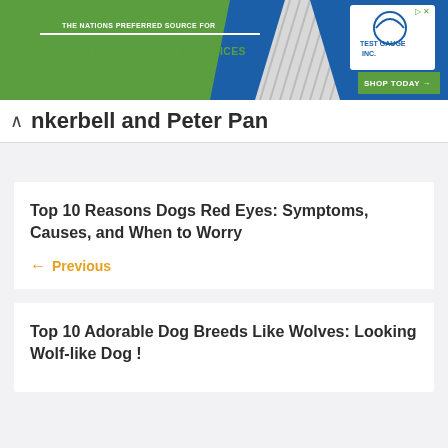[Figure (screenshot): Advertisement banner for Test Gauge Inc. — backflow products and services. Green background with white text 'THE NATIONS PREFERRED SOURCE FOR' and 'BACKFLOW PRODUCTS & SERVICES'. Logo for Test Gauge Inc. on right. Green 'SHOP TODAY →' button.]
nkerbell and Peter Pan
Top 10 Reasons Dogs Red Eyes: Symptoms, Causes, and When to Worry
← Previous
Top 10 Adorable Dog Breeds Like Wolves: Looking Wolf-like Dog !